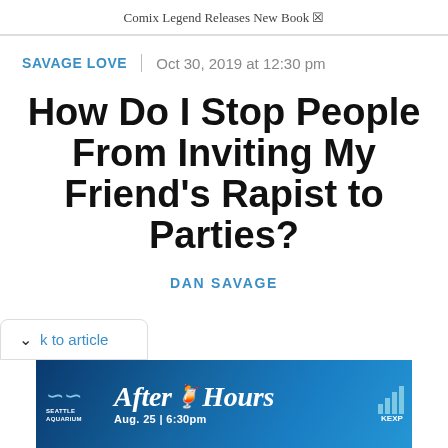Comix Legend Releases New Book ☒
SAVAGE LOVE | Oct 30, 2019 at 12:30 pm
How Do I Stop People From Inviting My Friend's Rapist to Parties?
DAN SAVAGE
k to article
[Figure (photo): Seattle Aquarium After Hours advertisement banner: dark blue background with waves, cocktail icon, text 'AFTER HOURS Aug. 25 | 6:30pm' with KEXP bar chart logo]